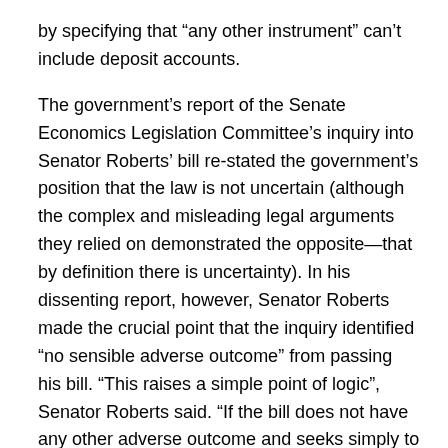by specifying that “any other instrument” can’t include deposit accounts.
The government’s report of the Senate Economics Legislation Committee’s inquiry into Senator Roberts’ bill re-stated the government’s position that the law is not uncertain (although the complex and misleading legal arguments they relied on demonstrated the opposite—that by definition there is uncertainty). In his dissenting report, however, Senator Roberts made the crucial point that the inquiry identified “no sensible adverse outcome” from passing his bill. “This raises a simple point of logic”, Senator Roberts said. “If the bill does not have any other adverse outcome and seeks simply to reaffirm the meaning of the legislation currently in place, then there is no reason not to pass the bill.”